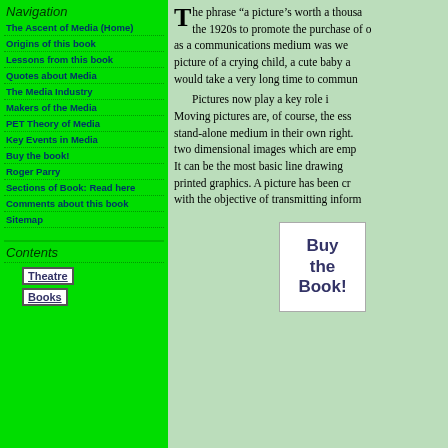Navigation
The Ascent of Media (Home)
Origins of this book
Lessons from this book
Quotes about Media
The Media Industry
Makers of the Media
PET Theory of Media
Key Events in Media
Buy the book!
Roger Parry
Sections of Book: Read here
Comments about this book
Sitemap
Contents
Theatre
Books
The phrase "a picture’s worth a thousand words" was coined in the 1920s to promote the purchase of o... as a communications medium was we... picture of a crying child, a cute baby a... would take a very long time to commun... Pictures now play a key role i... Moving pictures are, of course, the ess... stand-alone medium in their own right. ... two dimensional images which are emp... It can be the most basic line drawing ... printed graphics. A picture has been cr... with the objective of transmitting inform...
[Figure (illustration): Buy the Book! button — white rectangle with bold dark blue text reading 'Buy the Book!']